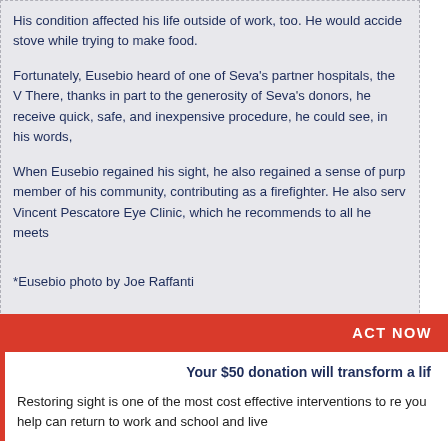His condition affected his life outside of work, too. He would accide stove while trying to make food.
Fortunately, Eusebio heard of one of Seva's partner hospitals, the V There, thanks in part to the generosity of Seva's donors, he receive quick, safe, and inexpensive procedure, he could see, in his words,
When Eusebio regained his sight, he also regained a sense of purp member of his community, contributing as a firefighter. He also serv Vincent Pescatore Eye Clinic, which he recommends to all he meets
*Eusebio photo by Joe Raffanti
ACT NOW
Your $50 donation will transform a lif
Restoring sight is one of the most cost effective interventions to re you help can return to work and school and live